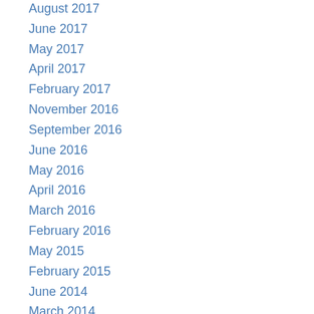August 2017
June 2017
May 2017
April 2017
February 2017
November 2016
September 2016
June 2016
May 2016
April 2016
March 2016
February 2016
May 2015
February 2015
June 2014
March 2014
February 2014
December 2013
November 2013
October 2013
August 2013
May 2013